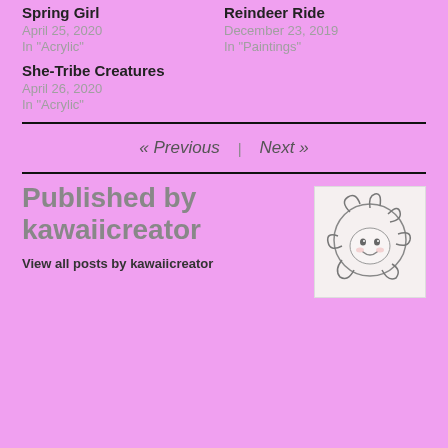Spring Girl
April 25, 2020
In "Acrylic"
Reindeer Ride
December 23, 2019
In "Paintings"
She-Tribe Creatures
April 26, 2020
In "Acrylic"
« Previous    Next »
Published by kawaiicreator
[Figure (illustration): Avatar illustration of a kawaii-style cartoon face with swirling hair, drawn in pencil/ink style on light background]
View all posts by kawaiicreator